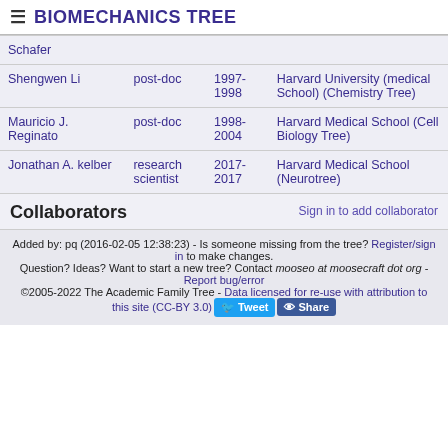≡ BIOMECHANICS TREE
| Name | Role | Years | Institution |
| --- | --- | --- | --- |
| Schafer |  |  |  |
| Shengwen Li | post-doc | 1997-1998 | Harvard University (medical School) (Chemistry Tree) |
| Mauricio J. Reginato | post-doc | 1998-2004 | Harvard Medical School (Cell Biology Tree) |
| Jonathan A. kelber | research scientist | 2017-2017 | Harvard Medical School (Neurotree) |
Collaborators
Sign in to add collaborator
Added by: pq (2016-02-05 12:38:23) - Is someone missing from the tree? Register/sign in to make changes. Question? Ideas? Want to start a new tree? Contact mooseo at moosecraft dot org - Report bug/error ©2005-2022 The Academic Family Tree - Data licensed for re-use with attribution to this site (CC-BY 3.0)